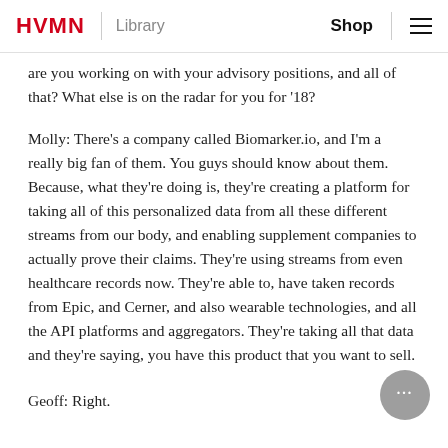HVMN | Library  Shop ≡
are you working on with your advisory positions, and all of that? What else is on the radar for you for '18?
Molly: There's a company called Biomarker.io, and I'm a really big fan of them. You guys should know about them. Because, what they're doing is, they're creating a platform for taking all of this personalized data from all these different streams from our body, and enabling supplement companies to actually prove their claims. They're using streams from even healthcare records now. They're able to, have taken records from Epic, and Cerner, and also wearable technologies, and all the API platforms and aggregators. They're taking all that data and they're saying, you have this product that you want to sell.
Geoff: Right.